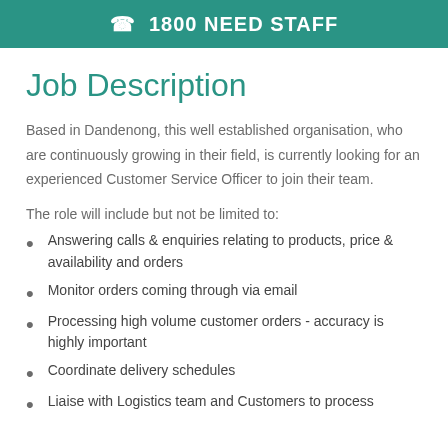📞 1800 NEED STAFF
Job Description
Based in Dandenong, this well established organisation, who are continuously growing in their field, is currently looking for an experienced Customer Service Officer to join their team.
The role will include but not be limited to:
Answering calls & enquiries relating to products, price & availability and orders
Monitor orders coming through via email
Processing high volume customer orders - accuracy is highly important
Coordinate delivery schedules
Liaise with Logistics team and Customers to process